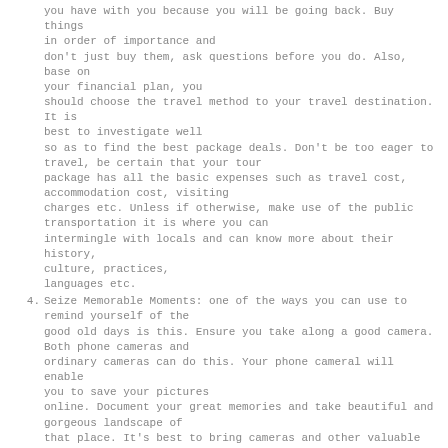you have with you because you will be going back. Buy things in order of importance and don't just buy them, ask questions before you do. Also, base on your financial plan, you should choose the travel method to your travel destination. It is best to investigate well so as to find the best package deals. Don't be too eager to travel, be certain that your tour package has all the basic expenses such as travel cost, accommodation cost, visiting charges etc. Unless if otherwise, make use of the public transportation it is where you can intermingle with locals and can know more about their history, culture, practices, languages etc.
4. Seize Memorable Moments: one of the ways you can use to remind yourself of the good old days is this. Ensure you take along a good camera. Both phone cameras and ordinary cameras can do this. Your phone cameral will enable you to save your pictures online. Document your great memories and take beautiful and gorgeous landscape of that place. It's best to bring cameras and other valuable things with your carry-on luggage.
5. Be Safe and Ready: Ahead of leaving for travel, it is imperative to recheck your packed luggage. This can be achieved when you have a list of what...